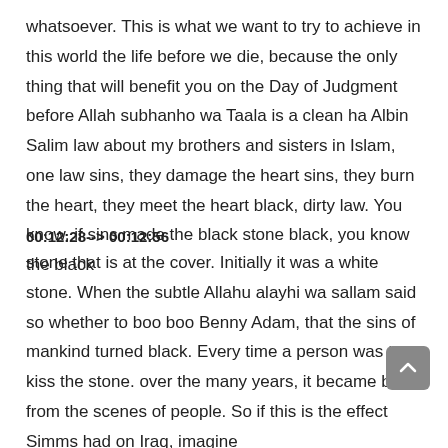whatsoever. This is what we want to try to achieve in this world the life before we die, because the only thing that will benefit you on the Day of Judgment before Allah subhanho wa Taala is a clean ha Albin Salim law about my brothers and sisters in Islam, one law sins, they damage the heart sins, they burn the heart, they meet the heart black, dirty law. You know, if sins made the black stone black, you know the black
00:12:28--> 00:12:56
stone that is at the cover. Initially it was a white stone. When the subtle Allahu alayhi wa sallam said so whether to boo boo Benny Adam, that the sins of mankind turned black. Every time a person was to kiss the stone. over the many years, it became black from the scenes of people. So if this is the effect Simms had on Iraq, imagine